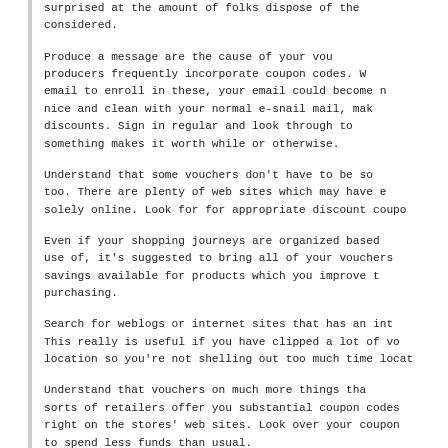surprised at the amount of folks dispose of the considered.
Produce a message are the cause of your vou producers frequently incorporate coupon codes. W email to enroll in these, your email could become n nice and clean with your normal e-snail mail, mak discounts. Sign in regular and look through to something makes it worth while or otherwise.
Understand that some vouchers don't have to be so too. There are plenty of web sites which may have e solely online. Look for for appropriate discount coupo
Even if your shopping journeys are organized based use of, it's suggested to bring all of your vouchers savings available for products which you improve t purchasing.
Search for weblogs or internet sites that has an int This really is useful if you have clipped a lot of vo location so you're not shelling out too much time locat
Understand that vouchers on much more things tha sorts of retailers offer you substantial coupon codes right on the stores' web sites. Look over your coupon to spend less funds than usual.
Well, before choosing a nearby restaurant, check